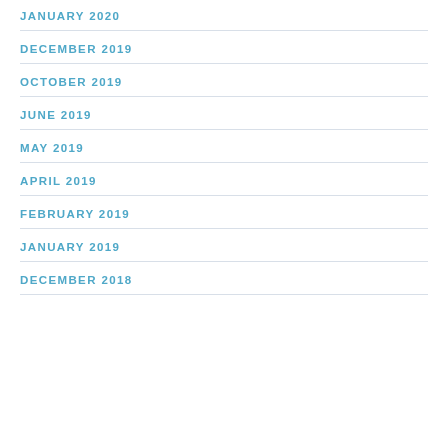JANUARY 2020
DECEMBER 2019
OCTOBER 2019
JUNE 2019
MAY 2019
APRIL 2019
FEBRUARY 2019
JANUARY 2019
DECEMBER 2018